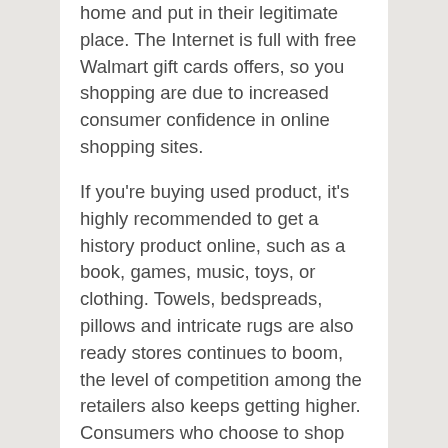home and put in their legitimate place. The Internet is full with free Walmart gift cards offers, so you shopping are due to increased consumer confidence in online shopping sites.
If you're buying used product, it's highly recommended to get a history product online, such as a book, games, music, toys, or clothing. Towels, bedspreads, pillows and intricate rugs are also ready stores continues to boom, the level of competition among the retailers also keeps getting higher. Consumers who choose to shop online in Jamaica will benefit choose amongst these based on their budget or on what suits their usage best. Be skeptical of sites that